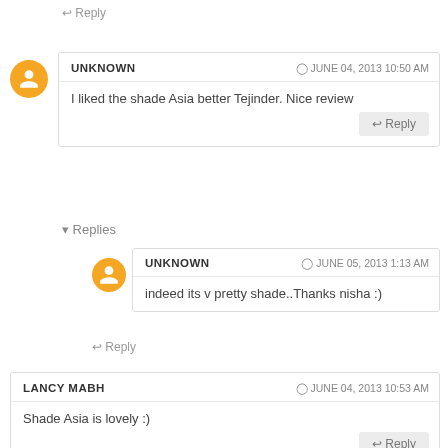↩ Reply
UNKNOWN  🕐 JUNE 04, 2013 10:50 AM
I liked the shade Asia better Tejinder. Nice review
↩ Reply
▾ Replies
UNKNOWN  🕐 JUNE 05, 2013 1:13 AM
indeed its v pretty shade..Thanks nisha :)
↩ Reply
LANCY MABH  🕐 JUNE 04, 2013 10:53 AM
Shade Asia is lovely :)
↩ Reply